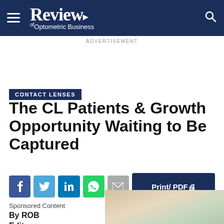Review of Optometric Business
ADVERTISEMENT
CONTACT LENSES
The CL Patients & Growth Opportunity Waiting to Be Captured
Sponsored Content
By ROB Editors
[Figure (photo): Partial photo of a person, bottom right corner of page]